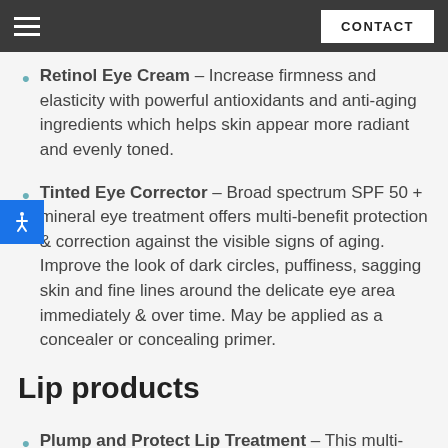CONTACT
Retinol Eye Cream – Increase firmness and elasticity with powerful antioxidants and anti-aging ingredients which helps skin appear more radiant and evenly toned.
Tinted Eye Corrector – Broad spectrum SPF 50 + mineral eye treatment offers multi-benefit protection & correction against the visible signs of aging. Improve the look of dark circles, puffiness, sagging skin and fine lines around the delicate eye area immediately & over time. May be applied as a concealer or concealing primer.
Lip products
Plump and Protect Lip Treatment – This multi-functional, pigment free lip treatment protects